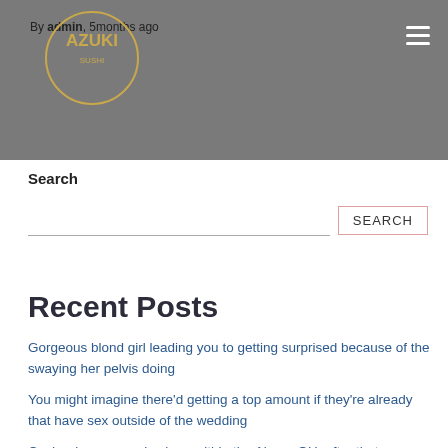By admin 5months ago
[Figure (logo): Azuki Sushi circular logo with gold text on grey background]
Search
SEARCH
Recent Posts
Gorgeous blond girl leading you to getting surprised because of the swaying her pelvis doing
You might imagine there'd getting a top amount if they're already that have sex outside of the wedding
Cash advance payday loan within the Akron, OH. after that, you